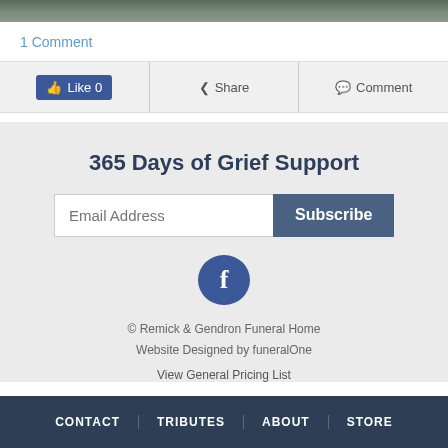[Figure (photo): Top portion of an outdoor photo showing rocks and foliage, cropped at the top of the page]
1 Comment
Like 0   Share   Comment
365 Days of Grief Support
Email Address   Subscribe
[Figure (logo): Facebook circular icon with white letter f on dark blue background]
© Remick & Gendron Funeral Home
Website Designed by funeralOne
View General Pricing List
CONTACT | TRIBUTES | ABOUT | STORE